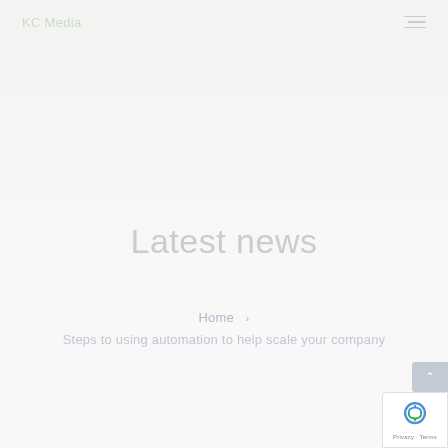KC Media
Latest news
Home  >
Steps to using automation to help scale your company